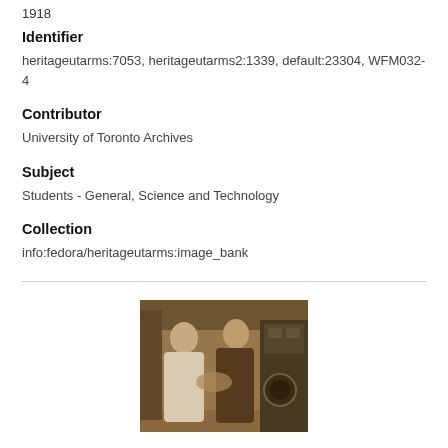1918
Identifier
heritageutarms:7053, heritageutarms2:1339, default:23304, WFM032-4
Contributor
University of Toronto Archives
Subject
Students - General, Science and Technology
Collection
info:fedora/heritageutarms:image_bank
[Figure (photo): A sepia-toned historical photograph showing two people, one in a white coat, appearing to work with or demonstrate machinery in an indoor setting.]